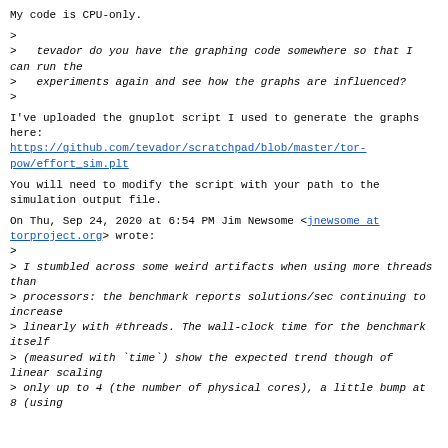My code is CPU-only.
>
>   tevador do you have the graphing code somewhere so that I can run the
>   experiments again and see how the graphs are influenced?
>
I've uploaded the gnuplot script I used to generate the graphs here:
https://github.com/tevador/scratchpad/blob/master/tor-pow/effort_sim.plt
You will need to modify the script with your path to the simulation output file.
On Thu, Sep 24, 2020 at 6:54 PM Jim Newsome <jnewsome at torproject.org> wrote:
>
> I stumbled across some weird artifacts when using more threads than
> processors: the benchmark reports solutions/sec continuing to increase
> linearly with #threads. The wall-clock time for the benchmark itself
> (measured with `time`) show the expected trend though of linear scaling
> only up to 4 (the number of physical cores), a little bump at 8 (using